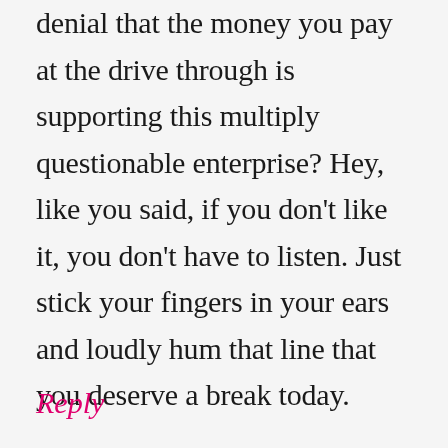denial that the money you pay at the drive through is supporting this multiply questionable enterprise? Hey, like you said, if you don't like it, you don't have to listen. Just stick your fingers in your ears and loudly hum that line that you deserve a break today.
Reply